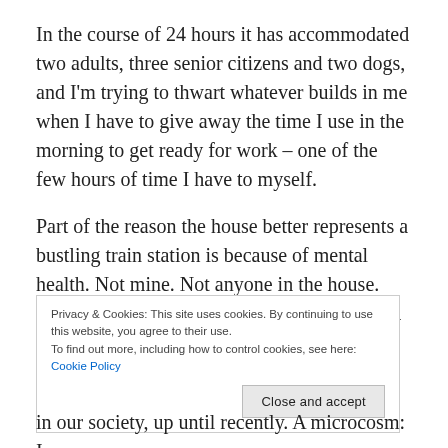In the course of 24 hours it has accommodated two adults, three senior citizens and two dogs, and I'm trying to thwart whatever builds in me when I have to give away the time I use in the morning to get ready for work – one of the few hours of time I have to myself.
Part of the reason the house better represents a bustling train station is because of mental health. Not mine. Not anyone in the house. But it's a factor that has affected my extended family for years.
Privacy & Cookies: This site uses cookies. By continuing to use this website, you agree to their use.
To find out more, including how to control cookies, see here: Cookie Policy
[Close and accept]
in our society, up until recently. A microcosm: In